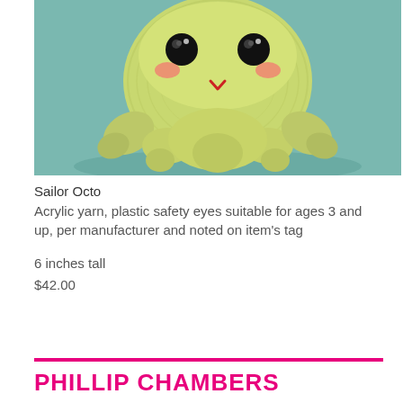[Figure (photo): A crocheted green octopus amigurumi toy with black safety eyes, pink blushed cheeks, a small red V-shaped smile, and multiple tentacle legs, photographed against a light blue background.]
Sailor Octo
Acrylic yarn, plastic safety eyes suitable for ages 3 and up, per manufacturer and noted on item's tag
6 inches tall
$42.00
PHILLIP CHAMBERS